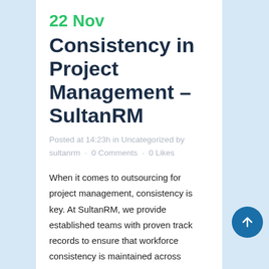22 Nov
Consistency in Project Management – SultanRM
Posted at 14:23h in Uncategorized by sultanrm · 0 Comments · 0 Likes
When it comes to outsourcing for project management, consistency is key. At SultanRM, we provide established teams with proven track records to ensure that workforce consistency is maintained across